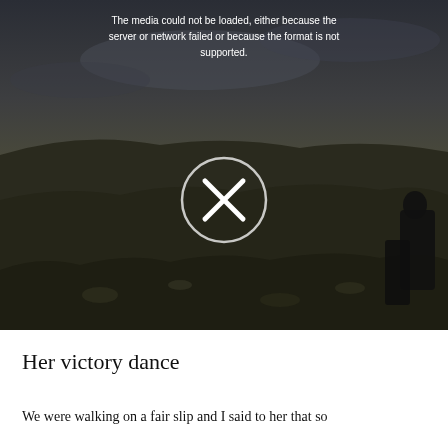[Figure (photo): A dark, moody landscape photo showing rolling hills under a cloudy sky. In the foreground are rocky, grassy slopes. Two figures in dark clothing are visible on the right side. A video error overlay is shown in the center with an X icon in a circle and an error message reading: 'The media could not be loaded, either because the server or network failed or because the format is not supported.']
Her victory dance
We were walking on a fair slip and I said to her that so